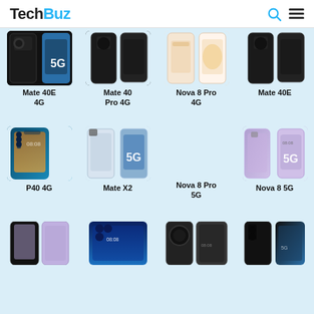TechBuz
[Figure (screenshot): Huawei Mate 40E 4G phone image with 5G badge]
Mate 40E 4G
[Figure (screenshot): Huawei Mate 40 Pro 4G phone image]
Mate 40 Pro 4G
[Figure (screenshot): Huawei Nova 8 Pro 4G phone image]
Nova 8 Pro 4G
[Figure (screenshot): Huawei Mate 40E phone image]
Mate 40E
[Figure (screenshot): Huawei P40 4G phone image]
P40 4G
[Figure (screenshot): Huawei Mate X2 phone with 5G badge]
Mate X2
[Figure (screenshot): Huawei Nova 8 Pro 5G phone image]
Nova 8 Pro 5G
[Figure (screenshot): Huawei Nova 8 5G phone image with 5G badge]
Nova 8 5G
[Figure (screenshot): Huawei phone partial bottom row 1]
[Figure (screenshot): Huawei phone partial bottom row 2]
[Figure (screenshot): Huawei phone partial bottom row 3]
[Figure (screenshot): Huawei phone partial bottom row 4]